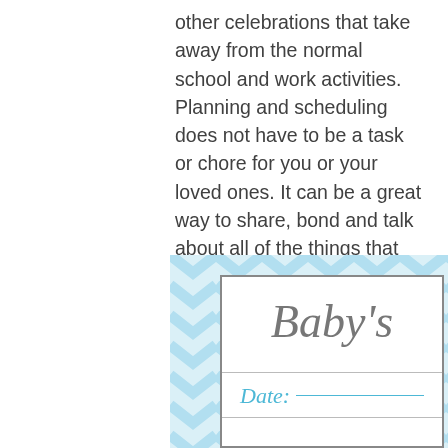other celebrations that take away from the normal school and work activities. Planning and scheduling does not have to be a task or chore for you or your loved ones. It can be a great way to share, bond and talk about all of the things that are going on in your lives. Planning and meeting will keep the balls bouncing in the same direction and no one will get left behind or forgotten.
[Figure (illustration): A baby shower planner card with light blue chevron background, a white inner card with cursive 'Baby's' text in gray, and a 'Date:' field in teal italic font with a line for writing.]